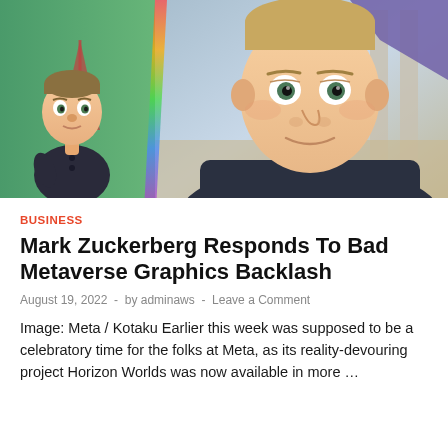[Figure (photo): Composite image showing two Meta/Horizon Worlds avatar versions of Mark Zuckerberg side by side. Left: older, simpler cartoon-style avatar in dark shirt with green background showing Eiffel Tower. Right: newer, more realistic-looking 3D avatar with detailed face, dark shirt, in a Greek/Roman-style outdoor setting with columns and purple fabric.]
BUSINESS
Mark Zuckerberg Responds To Bad Metaverse Graphics Backlash
August 19, 2022  -  by adminaws  -  Leave a Comment
Image: Meta / Kotaku Earlier this week was supposed to be a celebratory time for the folks at Meta, as its reality-devouring project Horizon Worlds was now available in more …